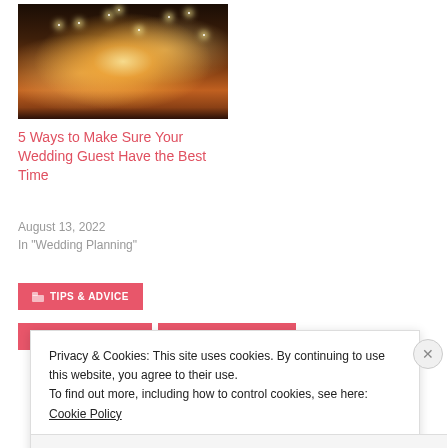[Figure (photo): Wedding photo with sparklers — bride and groom with wedding party holding sparklers in celebration]
5 Ways to Make Sure Your Wedding Guest Have the Best Time
August 13, 2022
In "Wedding Planning"
TIPS & ADVICE
WEDDING BELLS
WEDDING BLOGS
Privacy & Cookies: This site uses cookies. By continuing to use this website, you agree to their use.
To find out more, including how to control cookies, see here: Cookie Policy
Close and accept